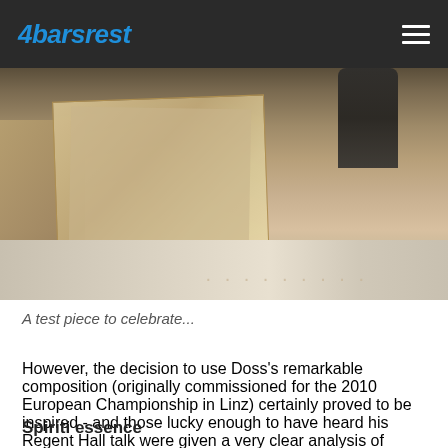4barsrest
[Figure (photo): A photo showing papers/scores on a table surface with a dark bottle in the background and a cardboard box to the left]
A test piece to celebrate...
However, the decision to use Doss’s remarkable composition (originally commissioned for the 2010 European Championship in Linz) certainly proved to be inspired - and those lucky enough to have heard his Regent Hall talk were given a very clear analysis of where its technical, musical and even liturgical pitfalls lay.
Spiriti essence